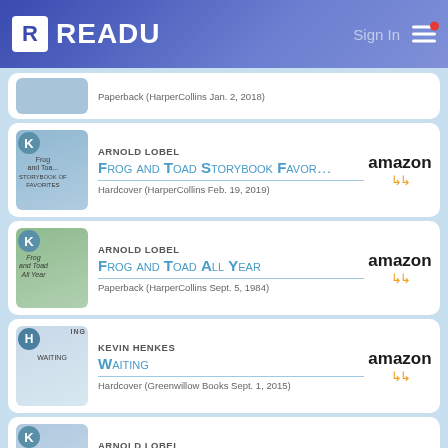READU — Sign In
Paperback (HarperCollins Jan. 2, 2018)
ARNOLD LOBEL
Frog and Toad Storybook Favor…
Hardcover (HarperCollins Feb. 19, 2019)
ARNOLD LOBEL
Frog and Toad All Year
Paperback (HarperCollins Sept. 5, 1984)
KEVIN HENKES
Waiting
Hardcover (Greenwillow Books Sept. 1, 2015)
ARNOLD LOBEL
The Frog and Toad Collection …
Paperback (HarperCollins May 25, 2004)
ARNOLD LOBEL